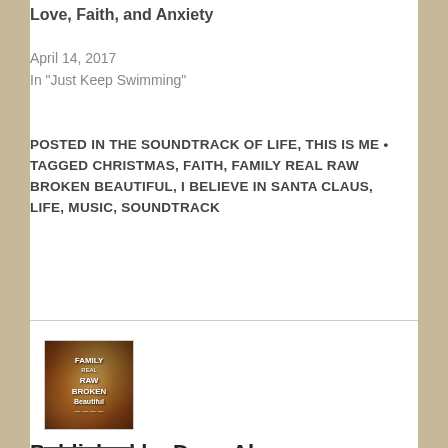Love, Faith, and Anxiety
April 14, 2017
In "Just Keep Swimming"
POSTED IN THE SOUNDTRACK OF LIFE, THIS IS ME •
TAGGED CHRISTMAS, FAITH, FAMILY REAL RAW BROKEN BEAUTIFUL, I BELIEVE IN SANTA CLAUS, LIFE, MUSIC, SOUNDTRACK
[Figure (photo): Book cover for Family Real Raw Broken Beautiful]
Published by Dena Abramson Babb